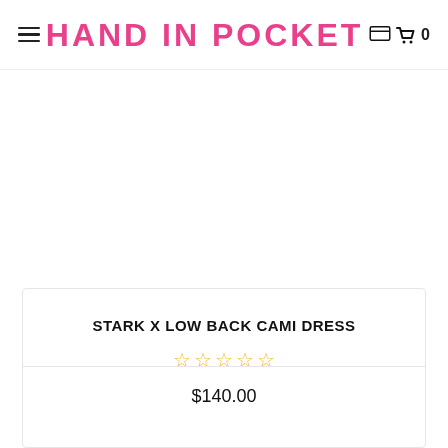HAND IN POCKET
STARK X LOW BACK CAMI DRESS
$140.00